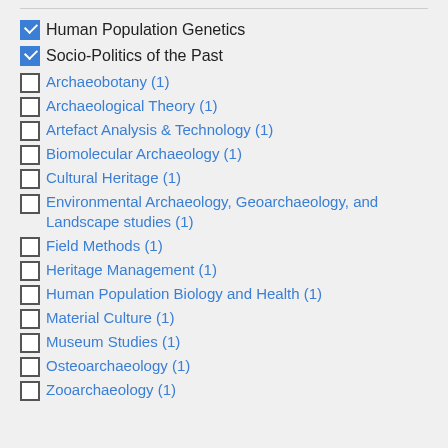Human Population Genetics [checked]
Socio-Politics of the Past [checked]
Archaeobotany (1)
Archaeological Theory (1)
Artefact Analysis & Technology (1)
Biomolecular Archaeology (1)
Cultural Heritage (1)
Environmental Archaeology, Geoarchaeology, and Landscape studies (1)
Field Methods (1)
Heritage Management (1)
Human Population Biology and Health (1)
Material Culture (1)
Museum Studies (1)
Osteoarchaeology (1)
Zooarchaeology (1)